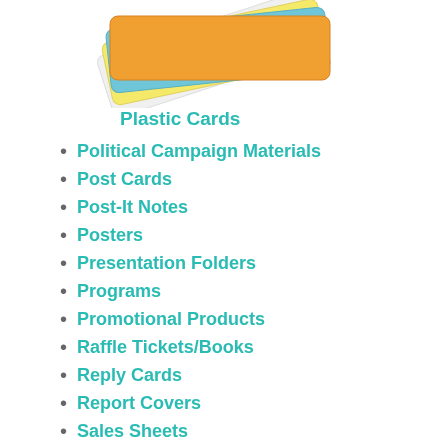[Figure (photo): Stack of colorful plastic cards fanned out, showing orange, yellow, blue, and white cards against a white background.]
Plastic Cards
Political Campaign Materials
Post Cards
Post-It Notes
Posters
Presentation Folders
Programs
Promotional Products
Raffle Tickets/Books
Reply Cards
Report Covers
Sales Sheets
Sports Teams – Athletic Apparel
T-Shirts
Tickets
Trade Show Graphics